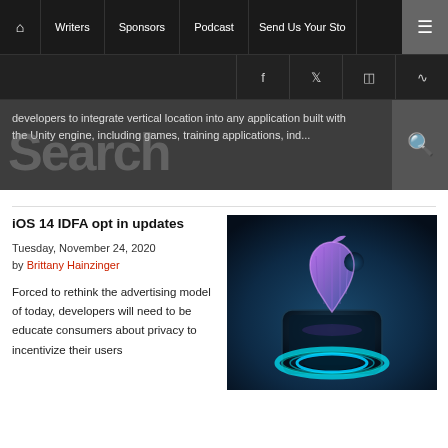Home | Writers | Sponsors | Podcast | Send Us Your Story | Menu
developers to integrate vertical location into any application built with the Unity engine, including games, training applications, ind...
iOS 14 IDFA opt in updates
Tuesday, November 24, 2020
by Brittany Hainzinger
Forced to rethink the advertising model of today, developers will need to be educate consumers about privacy to incentivize their users
[Figure (photo): 3D glowing Apple logo on a smartphone with neon teal ring light effect against dark blue background]